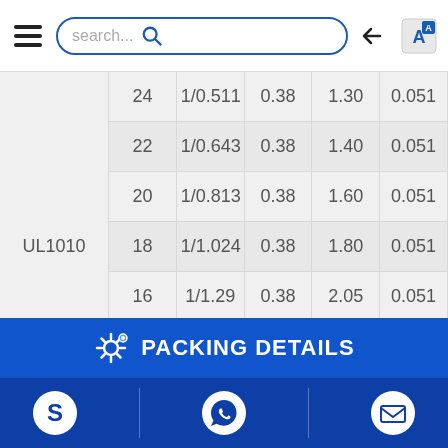|  | AWG | Stranding | Insulation Thickness | OD | Shield Thickness |
| --- | --- | --- | --- | --- | --- |
| UL1010 | 24 | 1/0.511 | 0.38 | 1.30 | 0.051 |
|  | 22 | 1/0.643 | 0.38 | 1.40 | 0.051 |
|  | 20 | 1/0.813 | 0.38 | 1.60 | 0.051 |
|  | 18 | 1/1.024 | 0.38 | 1.80 | 0.051 |
|  | 16 | 1/1.29 | 0.38 | 2.05 | 0.051 |
|  | 14 | 1/1.63 | 0.38 | 2.40 | 0.051 |
|  | 12 | 1/2.05 | 0.38 | 2.85 | 0.051 |
PACKING DETAILS